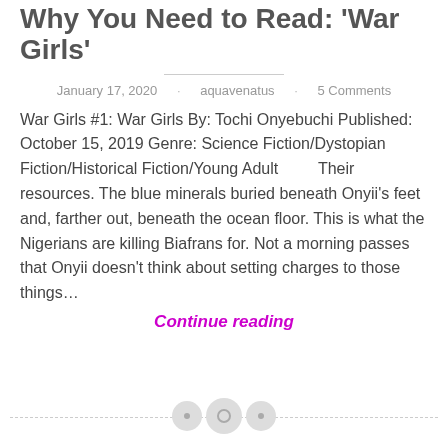Why You Need to Read: 'War Girls'
January 17, 2020 · aquavenatus · 5 Comments
War Girls #1: War Girls By: Tochi Onyebuchi Published: October 15, 2019 Genre: Science Fiction/Dystopian Fiction/Historical Fiction/Young Adult       Their resources. The blue minerals buried beneath Onyii's feet and, farther out, beneath the ocean floor. This is what the Nigerians are killing Biafrans for. Not a morning passes that Onyii doesn't think about setting charges to those things…
Continue reading